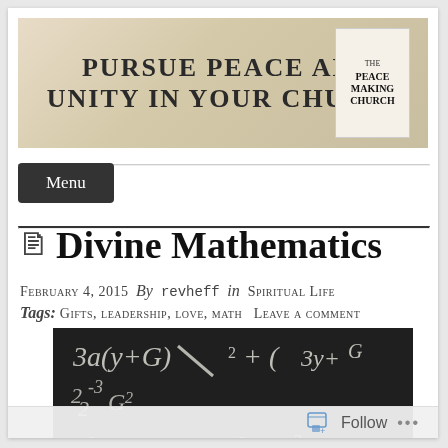[Figure (illustration): Banner advertisement: beige/tan background with bold text 'PURSUE PEACE AND UNITY IN YOUR CHURCH' and a book cover on the right showing 'THE PEACE MAKING CHURCH']
Menu
Divine Mathematics
February 4, 2015  By  revheff  in  Spiritual Life
Tags:  Gifts,  leadership,  love,  math   Leave a comment
[Figure (photo): Black and white photograph of a chalkboard filled with handwritten mathematical equations and formulas, with a hand holding chalk visible at the bottom right]
Follow  ...